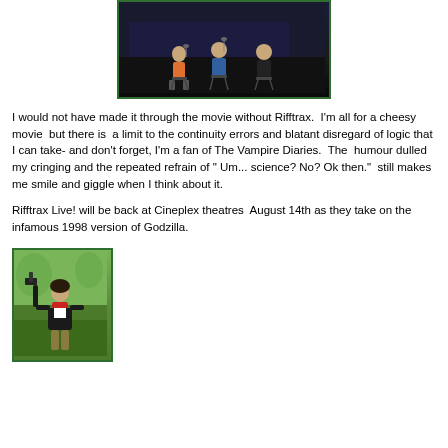[Figure (photo): Photo of people on a stage, dark background, appears to be a performance or panel event]
I would not have made it through the movie without Rifftrax.  I'm all for a cheesy movie  but there is  a limit to the continuity errors and blatant disregard of logic that I can take- and don't forget, I'm a fan of The Vampire Diaries.  The  humour dulled my cringing and the repeated refrain of " Um... science? No? Ok then."  still makes me smile and giggle when I think about it.
Rifftrax Live! will be back at Cineplex theatres  August 14th as they take on the infamous 1998 version of Godzilla.
[Figure (photo): Photo of a person outdoors holding something up, with trees and green grass in background]